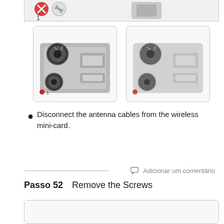[Figure (illustration): Top portion of a device component diagram showing a numbered label '1' at the bottom left, partially visible hardware illustration]
[Figure (illustration): Two side-by-side images showing close-up views of a wireless mini-card with antenna cable connections highlighted]
Disconnect the antenna cables from the wireless mini-card.
Adicionar um comentário
Passo 52    Remove the Screws
[Figure (illustration): Bottom image box showing next step illustration for removing screws, partially shown]